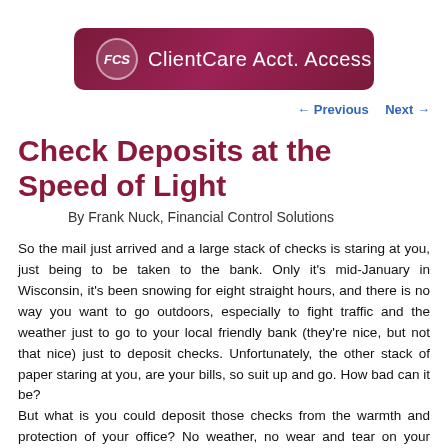[Figure (logo): FCS ClientCare Acct. Access header banner with dark red/maroon rounded rectangle background, FCS in italic circle on left, text on right]
← Previous   Next →
Check Deposits at the Speed of Light
By Frank Nuck, Financial Control Solutions
So the mail just arrived and a large stack of checks is staring at you, just being to be taken to the bank. Only it's mid-January in Wisconsin, it's been snowing for eight straight hours, and there is no way you want to go outdoors, especially to fight traffic and the weather just to go to your local friendly bank (they're nice, but not that nice) just to deposit checks. Unfortunately, the other stack of paper staring at you, are your bills, so suit up and go. How bad can it be?
But what is you could deposit those checks from the warmth and protection of your office? No weather, no wear and tear on your vehicle, no hourly labor just for